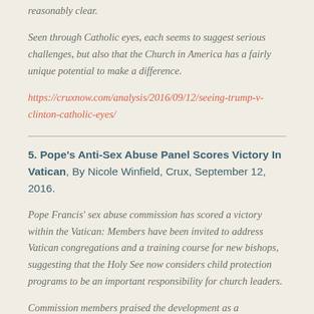reasonably clear.
Seen through Catholic eyes, each seems to suggest serious challenges, but also that the Church in America has a fairly unique potential to make a difference.
https://cruxnow.com/analysis/2016/09/12/seeing-trump-v-clinton-catholic-eyes/
5. Pope's Anti-Sex Abuse Panel Scores Victory In Vatican, By Nicole Winfield, Crux, September 12, 2016.
Pope Francis' sex abuse commission has scored a victory within the Vatican: Members have been invited to address Vatican congregations and a training course for new bishops, suggesting that the Holy See now considers child protection programs to be an important responsibility for church leaders.
Commission members praised the development as a breakthrough given that bishops have long been accused of covering up for abusers by moving pedophile priests from parish to parish rather than